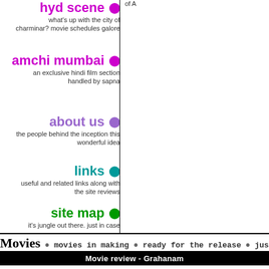of A
hyd scene — what's up with the city of charminar? movie schedules galore
amchi mumbai — an exclusive hindi film section handled by sapna
about us — the people behind the inception this wonderful idea
links — useful and related links along with the site reviews
site map — it's jungle out there. just in case
Movies • movies in making • ready for the release • just rel
Movie review - Grahanam
[Figure (photo): Black and white photo of an elderly smiling man with a beard, displayed with a torn/rough edge effect]